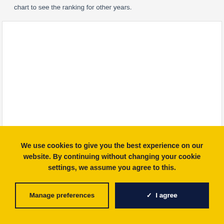chart to see the ranking for other years.
[Figure (other): Empty white chart area placeholder]
We use cookies to give you the best experience on our website. By continuing without changing your cookie settings, we assume you agree to this.
Manage preferences
✓  I agree